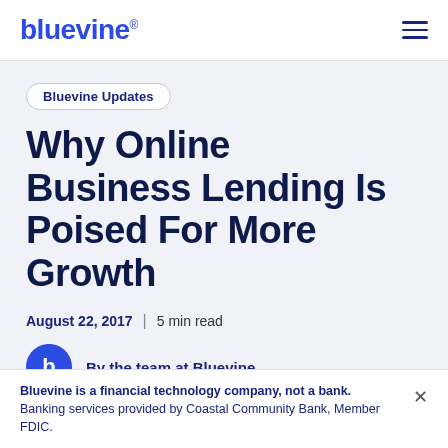bluevine
Bluevine Updates
Why Online Business Lending Is Poised For More Growth
August 22, 2017 | 5 min read
By the team at Bluevine
Bluevine is a financial technology company, not a bank. Banking services provided by Coastal Community Bank, Member FDIC.